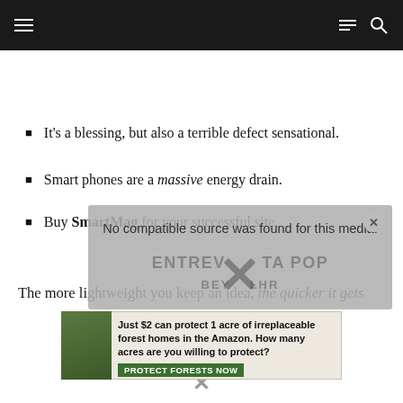Navigation bar with menu and search icons
It's a blessing, but also a terrible defect sensational.
Smart phones are a massive energy drain.
Buy SmartMag for your successful site.
[Figure (other): Video player overlay popup with text 'No compatible source was found for this media.' and ENTREVISTA POP BEYONCE watermark with X close button and X overlay icon]
The more lightweight you keep an idea, the quicker it gets
[Figure (other): Advertisement banner: Just $2 can protect 1 acre of irreplaceable forest homes in the Amazon. How many acres are you willing to protect? PROTECT FORESTS NOW]